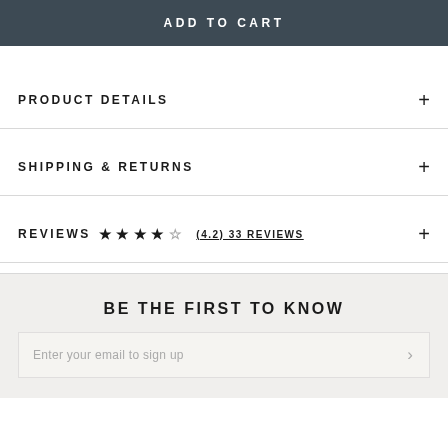ADD TO CART
PRODUCT DETAILS
SHIPPING & RETURNS
REVIEWS ★★★★☆ (4.2) 33 REVIEWS
BE THE FIRST TO KNOW
Enter your email to sign up